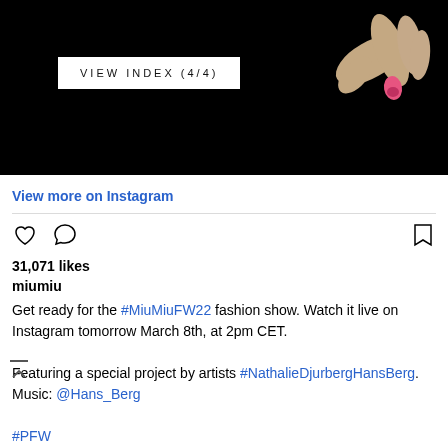[Figure (photo): Black background with a hand holding a small pink object in the upper right corner. A white button overlay reads VIEW INDEX (4/4).]
VIEW INDEX (4/4)
View more on Instagram
31,071 likes
miumiu
Get ready for the #MiuMiuFW22 fashion show. Watch it live on Instagram tomorrow March 8th, at 2pm CET.

Featuring a special project by artists #NathalieDjurbergHansBerg.
Music: @Hans_Berg

#PFW
#MiuMiu